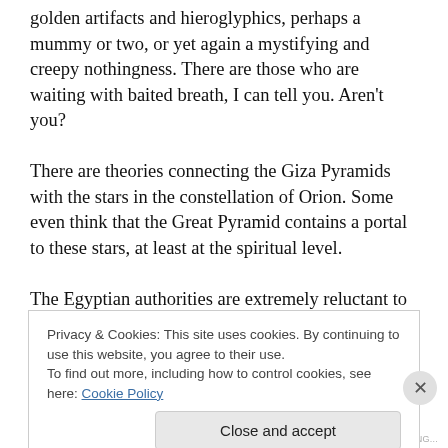golden artifacts and hieroglyphics, perhaps a mummy or two, or yet again a mystifying and creepy nothingness. There are those who are waiting with baited breath, I can tell you. Aren't you?
There are theories connecting the Giza Pyramids with the stars in the constellation of Orion. Some even think that the Great Pyramid contains a portal to these stars, at least at the spiritual level.
The Egyptian authorities are extremely reluctant to allow more excavation and general tampering of these ancient sites and probably rightly so. They have been ruthlessly
Privacy & Cookies: This site uses cookies. By continuing to use this website, you agree to their use.
To find out more, including how to control cookies, see here: Cookie Policy
Close and accept
REDIRECTING...